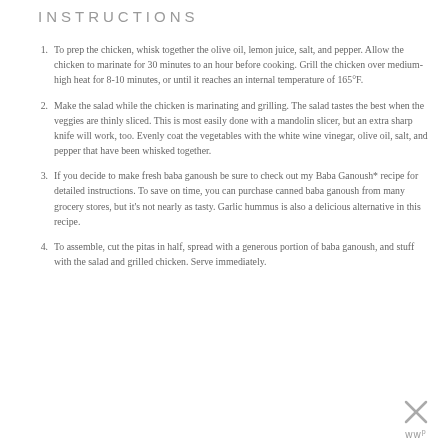INSTRUCTIONS
To prep the chicken, whisk together the olive oil, lemon juice, salt, and pepper. Allow the chicken to marinate for 30 minutes to an hour before cooking. Grill the chicken over medium-high heat for 8-10 minutes, or until it reaches an internal temperature of 165°F.
Make the salad while the chicken is marinating and grilling. The salad tastes the best when the veggies are thinly sliced. This is most easily done with a mandolin slicer, but an extra sharp knife will work, too. Evenly coat the vegetables with the white wine vinegar, olive oil, salt, and pepper that have been whisked together.
If you decide to make fresh baba ganoush be sure to check out my Baba Ganoush* recipe for detailed instructions. To save on time, you can purchase canned baba ganoush from many grocery stores, but it's not nearly as tasty. Garlic hummus is also a delicious alternative in this recipe.
To assemble, cut the pitas in half, spread with a generous portion of baba ganoush, and stuff with the salad and grilled chicken. Serve immediately.